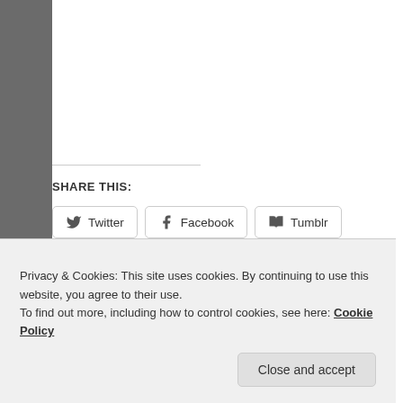SHARE THIS:
Twitter
Facebook
Tumblr
Pinterest
More
Like
[Figure (photo): Small thumbnail image of a person]
Privacy & Cookies: This site uses cookies. By continuing to use this website, you agree to their use.
To find out more, including how to control cookies, see here: Cookie Policy
Close and accept